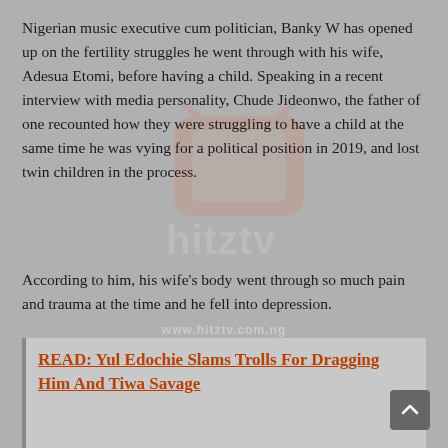Nigerian music executive cum politician, Banky W has opened up on the fertility struggles he went through with his wife, Adesua Etomi, before having a child. Speaking in a recent interview with media personality, Chude Jideonwo, the father of one recounted how they were struggling to have a child at the same time he was vying for a political position in 2019, and lost twin children in the process.
According to him, his wife's body went through so much pain and trauma at the time and he fell into depression.
‘2019 was a seminar moment in my life because that was the year we were running for office and at the same time my wife and I were struggling at that point to have a child and then we lost twins and we saw our her body go through so much pains,” he said.
[Figure (logo): HitzTV watermark logo with orange TV icon and white 'hitztv' text, plus URL watermark text]
READ: Yul Edochie Slams Trolls For Dragging Him And Tiwa Savage